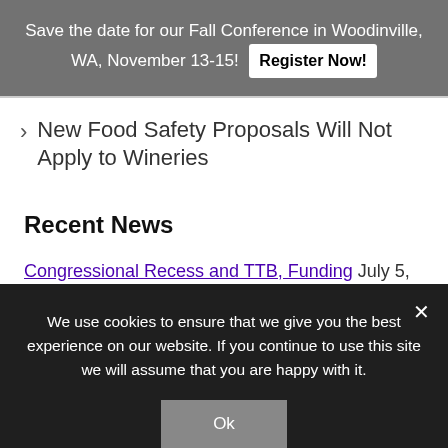Save the date for our Fall Conference in Woodinville, WA, November 13-15! Register Now!
New Food Safety Proposals Will Not Apply to Wineries
Recent News
Congressional Recess and TTB, Funding July 5,
We use cookies to ensure that we give you the best experience on our website. If you continue to use this site we will assume that you are happy with it.